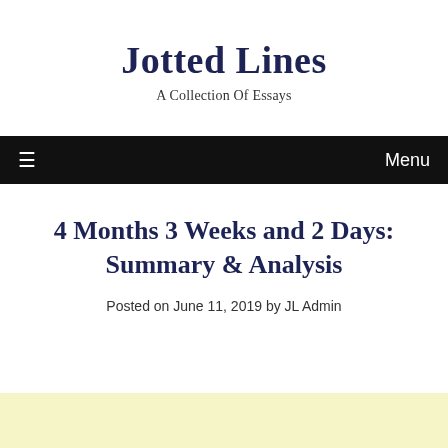Jotted Lines
A Collection Of Essays
Menu
4 Months 3 Weeks and 2 Days: Summary & Analysis
Posted on June 11, 2019 by JL Admin